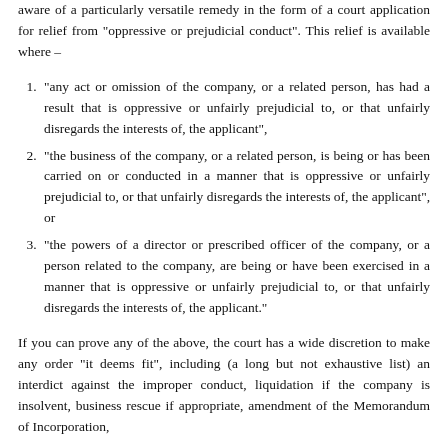aware of a particularly versatile remedy in the form of a court application for relief from "oppressive or prejudicial conduct". This relief is available where –
"any act or omission of the company, or a related person, has had a result that is oppressive or unfairly prejudicial to, or that unfairly disregards the interests of, the applicant",
"the business of the company, or a related person, is being or has been carried on or conducted in a manner that is oppressive or unfairly prejudicial to, or that unfairly disregards the interests of, the applicant", or
"the powers of a director or prescribed officer of the company, or a person related to the company, are being or have been exercised in a manner that is oppressive or unfairly prejudicial to, or that unfairly disregards the interests of, the applicant."
If you can prove any of the above, the court has a wide discretion to make any order "it deems fit", including (a long but not exhaustive list) an interdict against the improper conduct, liquidation if the company is insolvent, business rescue if appropriate, amendment of the Memorandum of Incorporation,